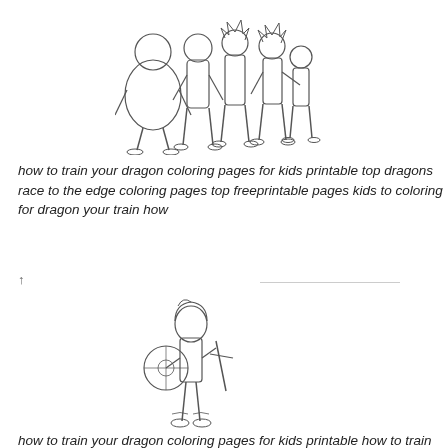[Figure (illustration): Line drawing of a group of cartoon characters from How to Train Your Dragon standing together]
how to train your dragon coloring pages for kids printable top dragons race to the edge coloring pages top freeprintable pages kids to coloring for dragon your train how
↑
[Figure (illustration): Line drawing of a young Viking character holding a sword and shield, coloring page style]
how to train your dragon coloring pages for kids printable how to train your dragon coloring pages for kids to printprintable coloring kids your how train for to pages dragon
↑
[Figure (illustration): Partial line drawing of a dragon head, coloring page style, cut off at bottom of page]